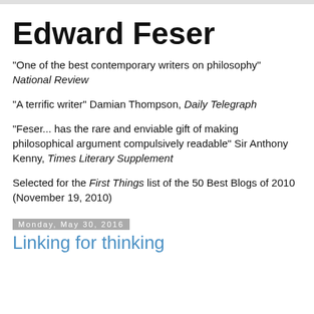Edward Feser
"One of the best contemporary writers on philosophy" National Review
"A terrific writer" Damian Thompson, Daily Telegraph
"Feser... has the rare and enviable gift of making philosophical argument compulsively readable" Sir Anthony Kenny, Times Literary Supplement
Selected for the First Things list of the 50 Best Blogs of 2010 (November 19, 2010)
Monday, May 30, 2016
Linking for thinking